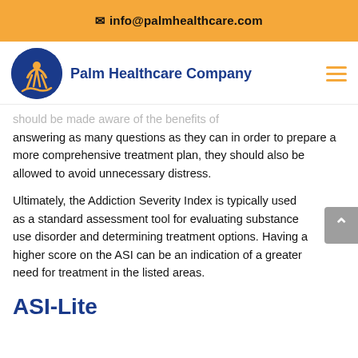✉ info@palmhealthcare.com
[Figure (logo): Palm Healthcare Company logo: blue circle with orange human figure, beside bold blue text 'Palm Healthcare Company' and orange hamburger menu icon]
should be made aware of the benefits of answering as many questions as they can in order to prepare a more comprehensive treatment plan, they should also be allowed to avoid unnecessary distress.
Ultimately, the Addiction Severity Index is typically used as a standard assessment tool for evaluating substance use disorder and determining treatment options. Having a higher score on the ASI can be an indication of a greater need for treatment in the listed areas.
ASI-Lite